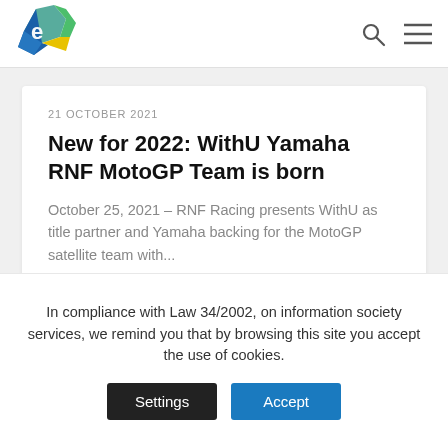[Figure (logo): Colored geometric polygon logo with green, blue and yellow facets, with a cursive 'e' shape]
Navigation bar with logo and search/menu icons
21 OCTOBER 2021
New for 2022: WithU Yamaha RNF MotoGP Team is born
October 25, 2021 – RNF Racing presents WithU as title partner and Yamaha backing for the MotoGP satellite team with...
READ MORE
In compliance with Law 34/2002, on information society services, we remind you that by browsing this site you accept the use of cookies.